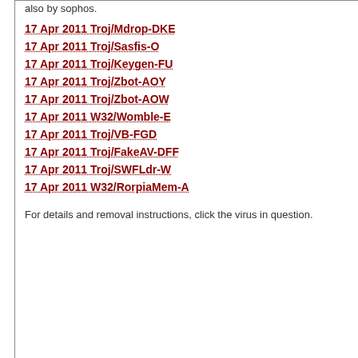also by sophos.
17 Apr 2011 Troj/Mdrop-DKE
17 Apr 2011 Troj/Sasfis-O
17 Apr 2011 Troj/Keygen-FU
17 Apr 2011 Troj/Zbot-AOY
17 Apr 2011 Troj/Zbot-AOW
17 Apr 2011 W32/Womble-E
17 Apr 2011 Troj/VB-FGD
17 Apr 2011 Troj/FakeAV-DFF
17 Apr 2011 Troj/SWFLdr-W
17 Apr 2011 W32/RorpiaMem-A
For details and removal instructions, click the virus in question.
Best of all, it's a free serv What is Mo Wea I hea you ask Wel thi of it as an onli serv that stor you bro
January 2005
December 2004
November 2004
October 2004
September 2004
August 2004
July 2004
June 2004
May 2004
April 2004
March 2004
February 2004
January 2004
Categories
Browser Wars (47)
General (1,024)
google (7) Wave (1)
MicroSoft Office Help and Tips (2)
mobile devices (3)